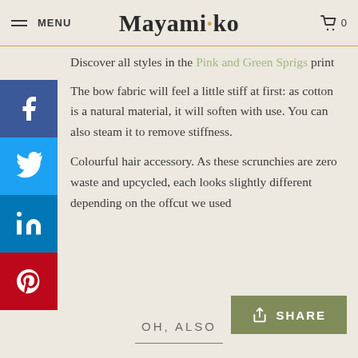MENU | Mayamiko | 0
Discover all styles in the Pink and Green Sprigs print
The bow fabric will feel a little stiff at first: as cotton is a natural material, it will soften with use. You can also steam it to remove stiffness.
Colourful hair accessory. As these scrunchies are zero waste and upcycled, each looks slightly different depending on the offcut we used
OH, ALSO